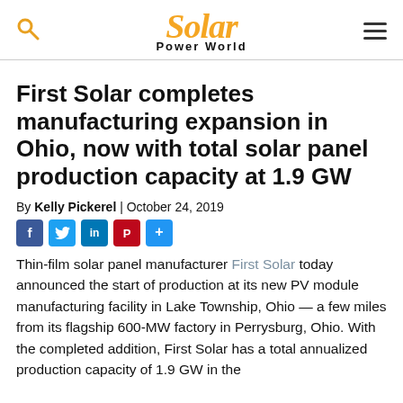Solar Power World
First Solar completes manufacturing expansion in Ohio, now with total solar panel production capacity at 1.9 GW
By Kelly Pickerel | October 24, 2019
[Figure (other): Social share buttons: Facebook, Twitter, LinkedIn, Pinterest, Share]
Thin-film solar panel manufacturer First Solar today announced the start of production at its new PV module manufacturing facility in Lake Township, Ohio — a few miles from its flagship 600-MW factory in Perrysburg, Ohio. With the completed addition, First Solar has a total annualized production capacity of 1.9 GW in the